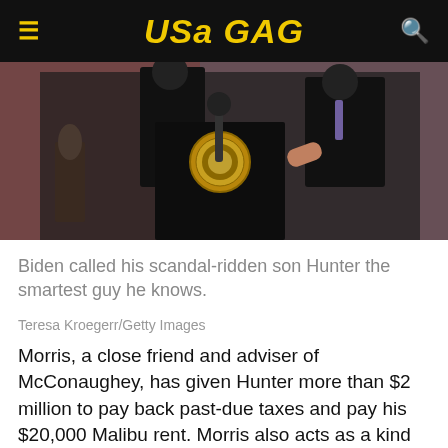USA GAG
[Figure (photo): Two men in dark suits at a presidential podium with the presidential seal visible]
Biden called his scandal-ridden son Hunter the smartest guy he knows.
Teresa Kroegerr/Getty Images
Morris, a close friend and adviser of McConaughey, has given Hunter more than $2 million to pay back past-due taxes and pay his $20,000 Malibu rent. Morris also acts as a kind of life coach for Hunter. He